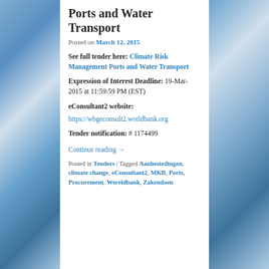Ports and Water Transport
Posted on March 12, 2015
See full tender here: Climate Risk Management Ports and Water Transport
Expression of Interest Deadline: 19-Mar-2015 at 11:59:59 PM (EST)
eConsultant2 website: https://wbgeconsult2.worldbank.org
Tender notification: # 1174499
Continue reading →
Posted in Tenders | Tagged Aanbestedingen, climate change, eConsultant2, MKB, Ports, Procurement, Wereldbank, Zakendoen